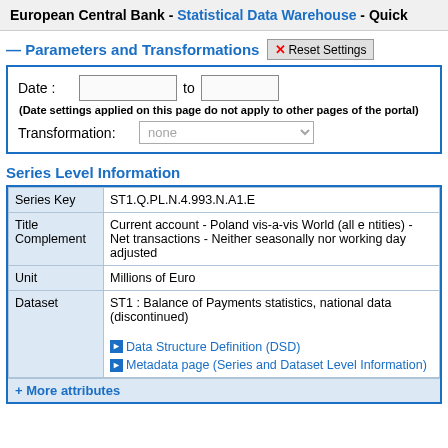European Central Bank - Statistical Data Warehouse - Quick
Parameters and Transformations
|  |  |
| --- | --- |
| Date : | (input) to (input) |
| (Date settings applied on this page do not apply to other pages of the portal) |  |
| Transformation: | none |
Series Level Information
| Series Key | ST1.Q.PL.N.4.993.N.A1.E |
| Title Complement | Current account - Poland vis-a-vis World (all entities) - Net transactions - Neither seasonally nor working day adjusted |
| Unit | Millions of Euro |
| Dataset | ST1 : Balance of Payments statistics, national data (discontinued)

Data Structure Definition (DSD)
Metadata page (Series and Dataset Level Information) |
+ More attributes